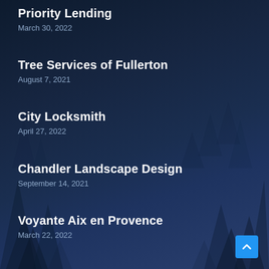Priority Lending
March 30, 2022
Tree Services of Fullerton
August 7, 2021
City Locksmith
April 27, 2022
Chandler Landscape Design
September 14, 2021
Voyante Aix en Provence
March 22, 2022